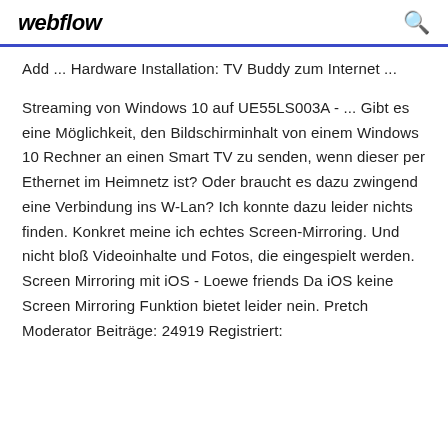webflow
Add ... Hardware Installation: TV Buddy zum Internet ...
Streaming von Windows 10 auf UE55LS003A - ... Gibt es eine Möglichkeit, den Bildschirminhalt von einem Windows 10 Rechner an einen Smart TV zu senden, wenn dieser per Ethernet im Heimnetz ist? Oder braucht es dazu zwingend eine Verbindung ins W-Lan? Ich konnte dazu leider nichts finden. Konkret meine ich echtes Screen-Mirroring. Und nicht bloß Videoinhalte und Fotos, die eingespielt werden. Screen Mirroring mit iOS - Loewe friends Da iOS keine Screen Mirroring Funktion bietet leider nein. Pretch Moderator Beiträge: 24919 Registriert: